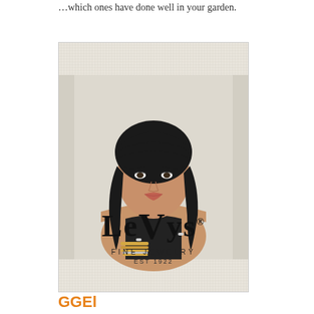…which ones have done well in your garden.
[Figure (photo): Advertisement for Levys Fine Jewelry Est 1922. A woman with dark hair and bangs wearing rings and gold bangles/bracelets, posing with arms crossed. The Levys Fine Jewelry logo appears at the bottom of the ad.]
GGEl